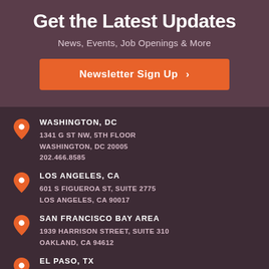Get the Latest Updates
News, Events, Job Openings & More
Newsletter Sign Up >
WASHINGTON, DC
1341 G ST NW, 5TH FLOOR
WASHINGTON, DC 20005
202.466.8585
LOS ANGELES, CA
601 S FIGUEROA ST, SUITE 2775
LOS ANGELES, CA 90017
SAN FRANCISCO BAY AREA
1939 HARRISON STREET, SUITE 310
OAKLAND, CA 94612
EL PASO, TX